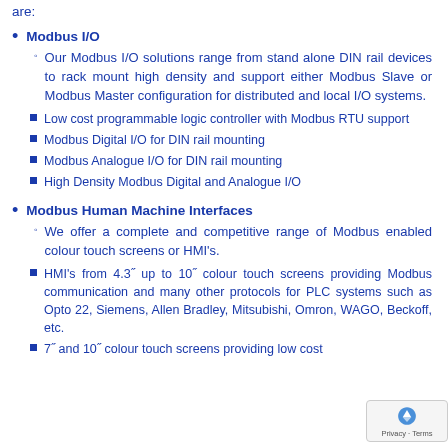are:
Modbus I/O
Our Modbus I/O solutions range from stand alone DIN rail devices to rack mount high density and support either Modbus Slave or Modbus Master configuration for distributed and local I/O systems.
Low cost programmable logic controller with Modbus RTU support
Modbus Digital I/O for DIN rail mounting
Modbus Analogue I/O for DIN rail mounting
High Density Modbus Digital and Analogue I/O
Modbus Human Machine Interfaces
We offer a complete and competitive range of Modbus enabled colour touch screens or HMI's.
HMI's from 4.3" up to 10" colour touch screens providing Modbus communication and many other protocols for PLC systems such as Opto 22, Siemens, Allen Bradley, Mitsubishi, Omron, WAGO, Beckoff, etc.
7" and 10" colour touch screens providing low cost